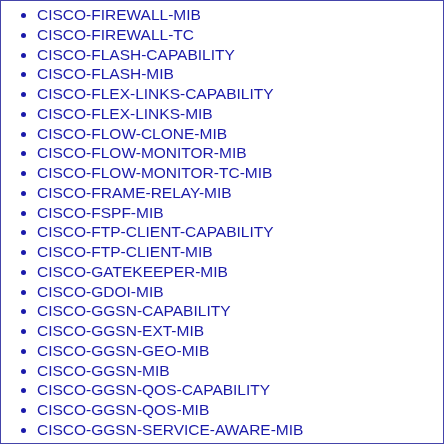CISCO-FIREWALL-MIB
CISCO-FIREWALL-TC
CISCO-FLASH-CAPABILITY
CISCO-FLASH-MIB
CISCO-FLEX-LINKS-CAPABILITY
CISCO-FLEX-LINKS-MIB
CISCO-FLOW-CLONE-MIB
CISCO-FLOW-MONITOR-MIB
CISCO-FLOW-MONITOR-TC-MIB
CISCO-FRAME-RELAY-MIB
CISCO-FSPF-MIB
CISCO-FTP-CLIENT-CAPABILITY
CISCO-FTP-CLIENT-MIB
CISCO-GATEKEEPER-MIB
CISCO-GDOI-MIB
CISCO-GGSN-CAPABILITY
CISCO-GGSN-EXT-MIB
CISCO-GGSN-GEO-MIB
CISCO-GGSN-MIB
CISCO-GGSN-QOS-CAPABILITY
CISCO-GGSN-QOS-MIB
CISCO-GGSN-SERVICE-AWARE-MIB
CISCO-GPRS-ACC-PT-CAPABILITY
CISCO-GPRS-ACC-PT-MIB
CISCO-GPRS-CHARGING-CAPABILITY
CISCO-GPRS-CHARGING-MIB